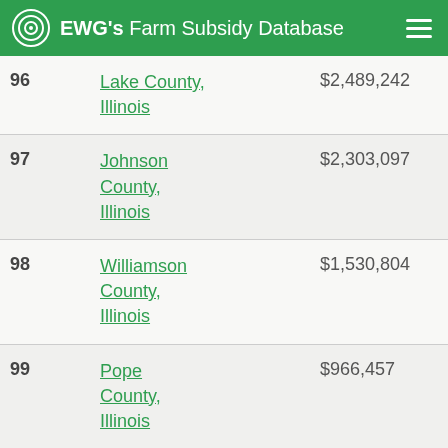EWG's Farm Subsidy Database
| Rank | County | Amount |  |
| --- | --- | --- | --- |
| 96 | Lake County, Illinois | $2,489,242 | 0. |
| 97 | Johnson County, Illinois | $2,303,097 | 0. |
| 98 | Williamson County, Illinois | $1,530,804 | 0. |
| 99 | Pope County, Illinois | $966,457 | 0. |
| 100 | Cook County, Illinois | $738,061 | 0. |